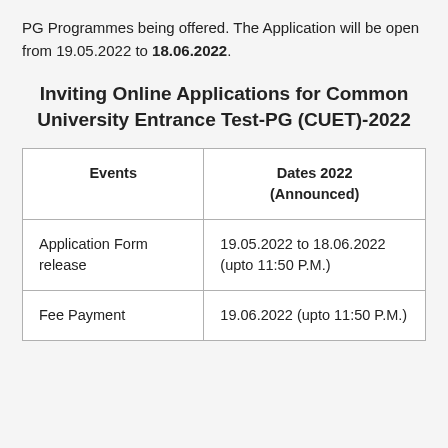PG Programmes being offered. The Application will be open from 19.05.2022 to 18.06.2022.
Inviting Online Applications for Common University Entrance Test-PG (CUET)-2022
| Events | Dates 2022 (Announced) |
| --- | --- |
| Application Form release | 19.05.2022 to 18.06.2022 (upto 11:50 P.M.) |
| Fee Payment | 19.06.2022 (upto 11:50 P.M.) |